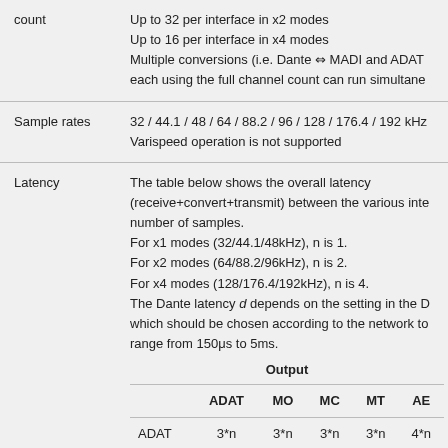count
Up to 32 per interface in x2 modes
Up to 16 per interface in x4 modes
Multiple conversions (i.e. Dante ⇔ MADI and ADAT each using the full channel count can run simultaneously
Sample rates
32 / 44.1 / 48 / 64 / 88.2 / 96 / 128 / 176.4 / 192 kHz
Varispeed operation is not supported
Latency
The table below shows the overall latency (receive+convert+transmit) between the various interfaces in number of samples.
For x1 modes (32/44.1/48kHz), n is 1.
For x2 modes (64/88.2/96kHz), n is 2.
For x4 modes (128/176.4/192kHz), n is 4.
The Dante latency d depends on the setting in the Dante controller, which should be chosen according to the network topology and can range from 150μs to 5ms.
|  | ADAT | MO | MC | MT | AE |
| --- | --- | --- | --- | --- | --- |
| ADAT | 3*n | 3*n | 3*n | 3*n | 4*n |